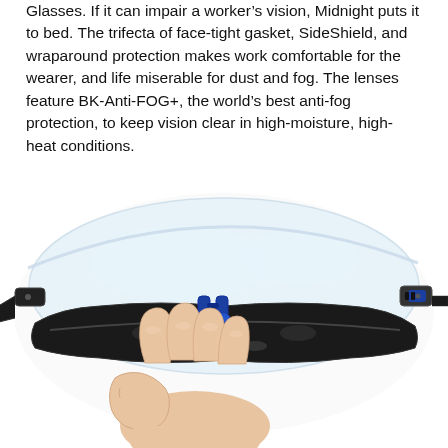Glasses. If it can impair a worker's vision, Midnight puts it to bed. The trifecta of face-tight gasket, SideShield, and wraparound protection makes work comfortable for the wearer, and life miserable for dust and fog. The lenses feature BK-Anti-FOG+, the world's best anti-fog protection, to keep vision clear in high-moisture, high-heat conditions.
[Figure (photo): Close-up photo of a person's hand holding a pair of safety glasses from below, showing the clear wraparound lens, black face-tight gasket frame, and blue nose bridge/nose pads. The glasses are viewed from the front-underside angle against a white background.]